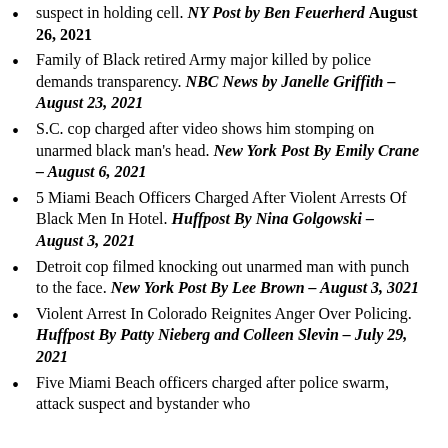suspect in holding cell. NY Post by Ben Feuerherd – August 26, 2021
Family of Black retired Army major killed by police demands transparency. NBC News by Janelle Griffith – August 23, 2021
S.C. cop charged after video shows him stomping on unarmed black man's head. New York Post By Emily Crane – August 6, 2021
5 Miami Beach Officers Charged After Violent Arrests Of Black Men In Hotel. Huffpost By Nina Golgowski – August 3, 2021
Detroit cop filmed knocking out unarmed man with punch to the face. New York Post By Lee Brown – August 3, 3021
Violent Arrest In Colorado Reignites Anger Over Policing. Huffpost By Patty Nieberg and Colleen Slevin – July 29, 2021
Five Miami Beach officers charged after police swarm, attack suspect and bystander who